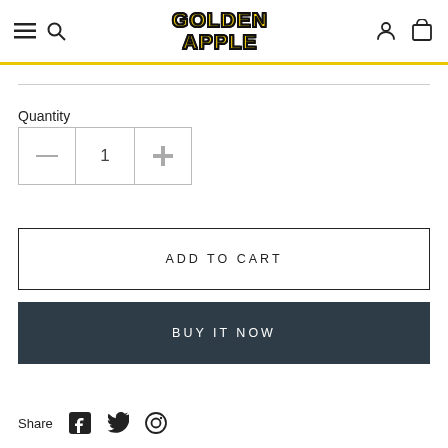[Figure (logo): Golden Apple comic store logo — bold yellow text with black stroke, stacked two lines: GOLDEN / APPLE]
Quantity
1
ADD TO CART
BUY IT NOW
Share